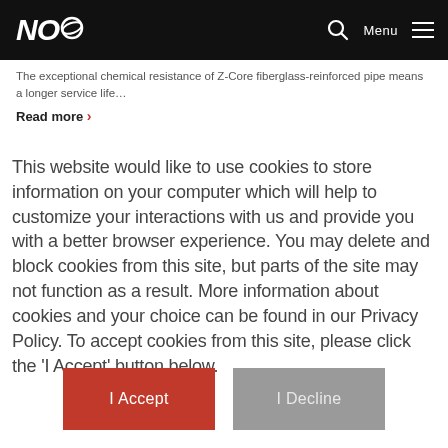NOY | Menu
The exceptional chemical resistance of Z-Core fiberglass-reinforced pipe means a longer service life…
Read more ›
This website would like to use cookies to store information on your computer which will help to customize your interactions with us and provide you with a better browser experience. You may delete and block cookies from this site, but parts of the site may not function as a result. More information about cookies and your choice can be found in our Privacy Policy. To accept cookies from this site, please click the 'I Accept' button below.
I Accept
I Decline